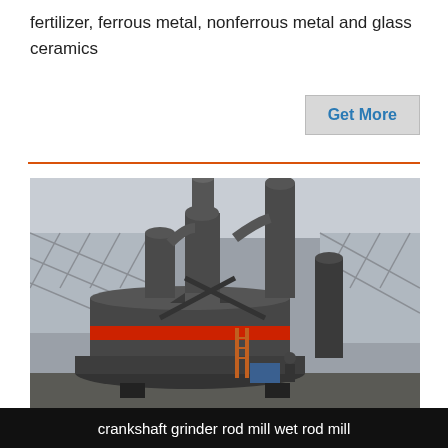fertilizer, ferrous metal, nonferrous metal and glass ceramics
[Figure (other): A button labeled 'Get More' with light gray background and blue text]
[Figure (photo): Industrial grinding mill machinery with large cylindrical body, red band around the middle, multiple vertical pipes and cyclone separators on top, installed at an industrial site with a steel structure building in the background]
crankshaft grinder rod mill wet rod mill